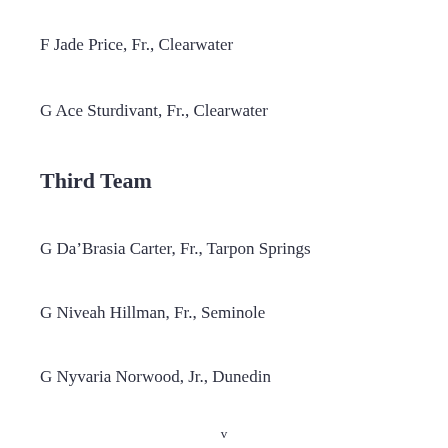F Jade Price, Fr., Clearwater
G Ace Sturdivant, Fr., Clearwater
Third Team
G Da’Brasia Carter, Fr., Tarpon Springs
G Niveah Hillman, Fr., Seminole
G Nyvaria Norwood, Jr., Dunedin
v